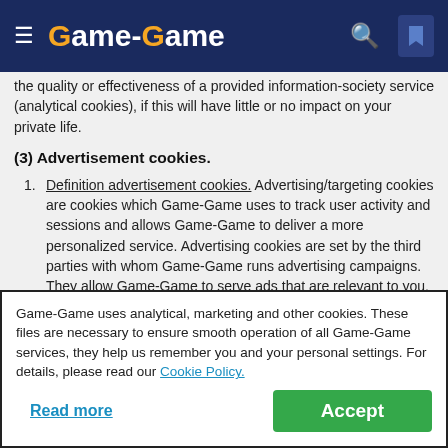Game-Game
the quality or effectiveness of a provided information-society service (analytical cookies), if this will have little or no impact on your private life.
(3) Advertisement cookies.
Definition advertisement cookies. Advertising/targeting cookies are cookies which Game-Game uses to track user activity and sessions and allows Game-Game to deliver a more personalized service. Advertising cookies are set by the third parties with whom Game-Game runs advertising campaigns. They allow Game-Game to serve ads that are relevant to you, including on websites of other companies.
Game-Game uses analytical, marketing and other cookies. These files are necessary to ensure smooth operation of all Game-Game services, they help us remember you and your personal settings. For details, please read our Cookie Policy.
Read more  Accept